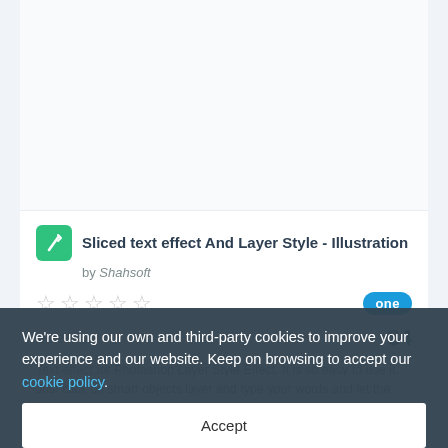[Figure (illustration): White/light area representing a product preview image placeholder at the top of a product card]
Sliced text effect And Layer Style - Illustration
by Shahsoft
[Figure (other): Five empty star rating icons and a blue 'one' badge]
Sales: 1
$4
Text effect for Photoshop Layer Style Effect. It is so easy to use it. Just click on smart objects layer and type your words and let the magic happens!What do you get: PSD Files Product F...
We're using our own and third-party cookies to improve your experience and our website. Keep on browsing to accept our cookie policy.
Accept